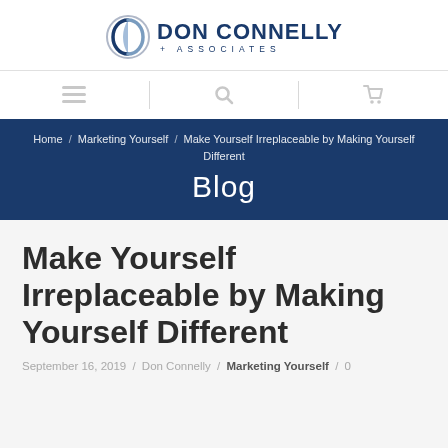[Figure (logo): Don Connelly + Associates logo with shield icon and text]
[Figure (infographic): Navigation bar with hamburger menu icon, search icon, and shopping cart icon]
Home / Marketing Yourself / Make Yourself Irreplaceable by Making Yourself Different
Blog
Make Yourself Irreplaceable by Making Yourself Different
September 16, 2019 / Don Connelly / Marketing Yourself / 0